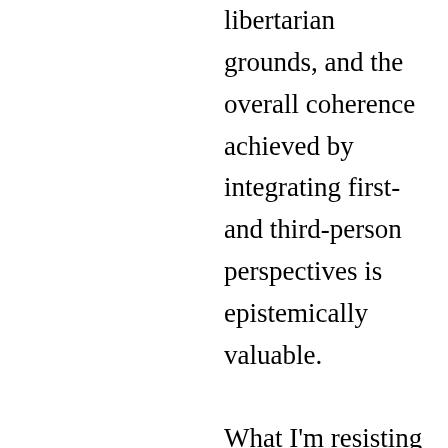libertarian grounds, and the overall coherence achieved by integrating first- and third-person perspectives is epistemically valuable.

What I'm resisting in Marvin's comments is a common tendency in arguments for determinism: Ignore